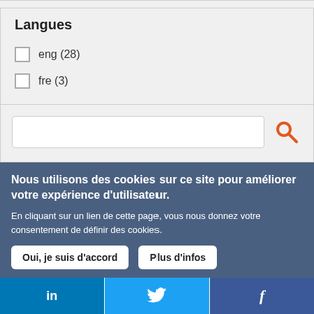Langues
eng (28)
fre (3)
[Figure (screenshot): Search input field with orange magnifying glass search icon]
Nous utilisons des cookies sur ce site pour améliorer votre expérience d'utilisateur.
En cliquant sur un lien de cette page, vous nous donnez votre consentement de définir des cookies.
Oui, je suis d'accord
Plus d'infos
[Figure (screenshot): Social media bar with LinkedIn, Twitter, and Facebook icons]